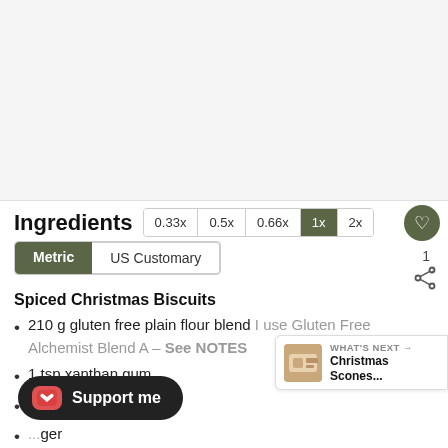[Figure (photo): Blank/white top area of a webpage screenshot]
Ingredients  0.33x  0.5x  0.66x  1x  2x
Metric  US Customary
Spiced Christmas Biscuits
210 g gluten free plain flour blend I use Gluten Free Alchemist Blend A – See NOTES
1 tsp xanthan gum
...e soda
...ger
1¼ tsp ground cinnamon